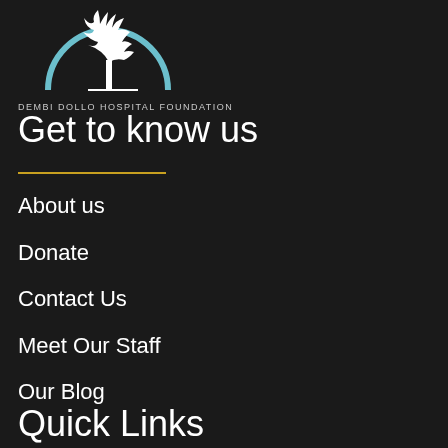[Figure (logo): Dembi Dollo Hospital Foundation logo — white tree silhouette inside a light blue circular arc, with organization name below]
Get to know us
About us
Donate
Contact Us
Meet Our Staff
Our Blog
Quick Links